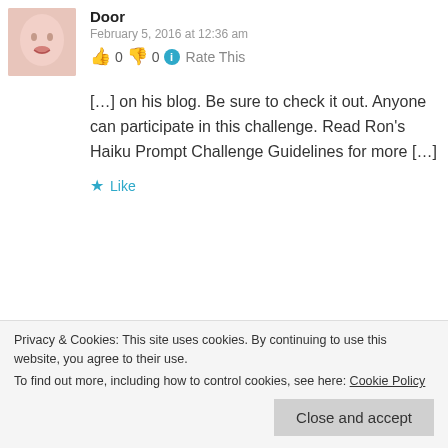[Figure (photo): Avatar image of commenter 'Door' - person's face, pinkish/skin tones]
Door
February 5, 2016 at 12:36 am
👍 0 👎 0 ℹ Rate This
[…] on his blog. Be sure to check it out. Anyone can participate in this challenge. Read Ron's Haiku Prompt Challenge Guidelines for more […]
★ Like
[Figure (photo): Avatar image of second commenter - person's face, blonde hair]
Privacy & Cookies: This site uses cookies. By continuing to use this website, you agree to their use.
To find out more, including how to control cookies, see here: Cookie Policy
Close and accept
[…] on his blog. Be sure to check it out.